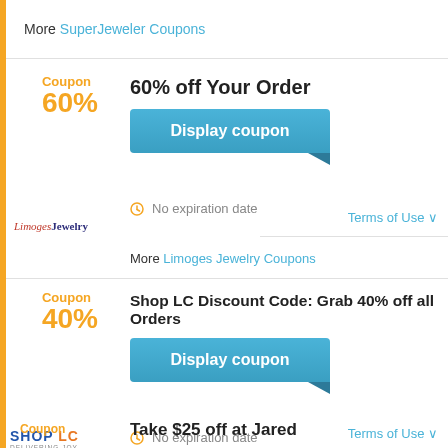More SuperJeweler Coupons
Coupon 60%
60% off Your Order
Display coupon
No expiration date
Terms of Use
More Limoges Jewelry Coupons
Coupon 40%
Shop LC Discount Code: Grab 40% off all Orders
Display coupon
No expiration date
Terms of Use
More Shop LC Coupons
Coupon
Take $25 off at Jared